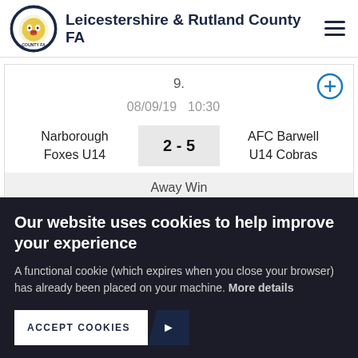Leicestershire & Rutland County FA
9.
08/09/19  10:30
Narborough Foxes U14  2 - 5  AFC Barwell U14 Cobras
Away Win
Our website uses cookies to help improve your experience
A functional cookie (which expires when you close your browser) has already been placed on your machine. More details
ACCEPT COOKIES